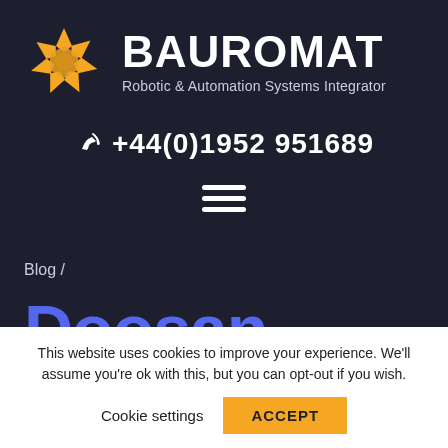[Figure (logo): Bauromat logo: orange geometric shape resembling a rotating mechanical gear/star, with BAUROMAT text and subtitle 'Robotic & Automation Systems Integrator']
+44(0)1952 951689
[Figure (other): Hamburger menu icon (three horizontal lines)]
Blog /
Doosan
This website uses cookies to improve your experience. We'll assume you're ok with this, but you can opt-out if you wish.
Cookie settings   ACCEPT